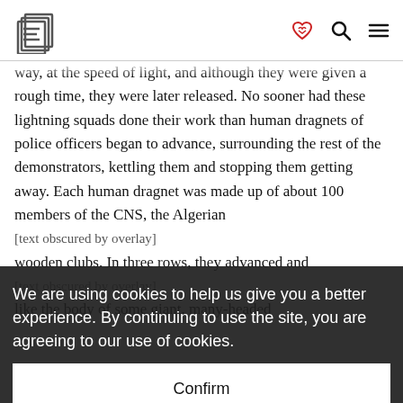[Logo] [heart icon] [search icon] [menu icon]
way, at the speed of light, and although they were given a rough time, they were later released. No sooner had these lightning squads done their work than human dragnets of police officers began to advance, surrounding the rest of the demonstrators, kettling them and stopping them getting away. Each human dragnet was made up of about 100 members of the CNS, the Algerian [text continues] wooden clubs. In three rows, they advanced and [text continues] like the body of some giant, many-headed
We are using cookies to help us give you a better experience. By continuing to use the site, you are agreeing to our use of cookies.
Confirm